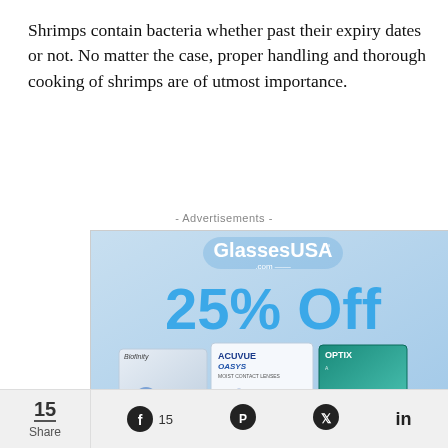Shrimps contain bacteria whether past their expiry dates or not. No matter the case, proper handling and thorough cooking of shrimps are of utmost importance.
- Advertisements -
[Figure (other): GlassesUSA advertisement showing 25% Off contact lenses with product boxes (Biofinity, Acuvue Oasys, Optix) and a Shop Contacts button]
15 Share  15 (Facebook)  (Pinterest)  (Twitter)  in (LinkedIn)